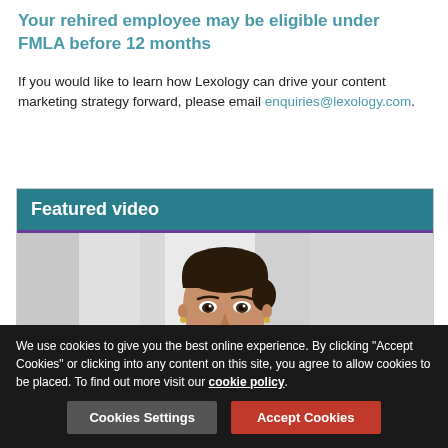Your rehired employee may be eligible under FMLA before 12 months
If you would like to learn how Lexology can drive your content marketing strategy forward, please email enquiries@lexology.com.
Featured video
[Figure (photo): Video thumbnail showing a smiling woman with dark hair pulled back, against a grey background. A purple 'Video' badge appears in the bottom-left corner.]
We use cookies to give you the best online experience. By clicking "Accept Cookies" or clicking into any content on this site, you agree to allow cookies to be placed. To find out more visit our cookie policy.